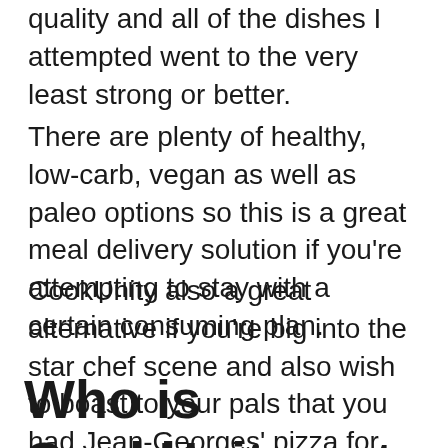quality and all of the dishes I attempted went to the very least strong or better.
There are plenty of healthy, low-carb, vegan as well as paleo options so this is a great meal delivery solution if you're attempting to stay with a certain consuming plan.
CookUnity also a great alternative if you're big into the star chef scene and also wish to boast to your pals that you had Jean-Georges' pizza for dinner last evening. And yes, the French-born, James Beard Award-winning chef in fact has a pizza dish on the CookUnity food selection. Go number.
Who is CookUnity not